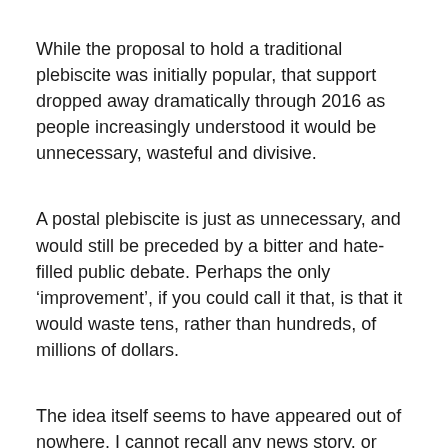While the proposal to hold a traditional plebiscite was initially popular, that support dropped away dramatically through 2016 as people increasingly understood it would be unnecessary, wasteful and divisive.
A postal plebiscite is just as unnecessary, and would still be preceded by a bitter and hate-filled public debate. Perhaps the only ‘improvement’, if you could call it that, is that it would waste tens, rather than hundreds, of millions of dollars.
The idea itself seems to have appeared out of nowhere. I cannot recall any news story, or opinion piece, published